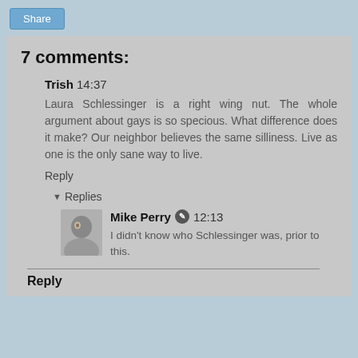Share
7 comments:
Trish 14:37
Laura Schlessinger is a right wing nut. The whole argument about gays is so specious. What difference does it make? Our neighbor believes the same silliness. Live as one is the only sane way to live.
Reply
▼ Replies
Mike Perry 12:13
I didn't know who Schlessinger was, prior to this.
Reply